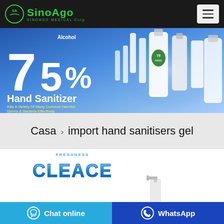SinoAgo MEDICAL Corp
[Figure (photo): Banner ad for 75% Alcohol Hand Sanitizer by SinoAgo, blue background with white text showing 75% and Hand Sanitizer label, multiple product bottles on the right]
Casa > import hand sanitisers gel
[Figure (logo): CLEACE brand logo in blue chrome 3D lettering with small text above it, followed by a pump bottle hand sanitizer product image below]
Chat online
WhatsApp